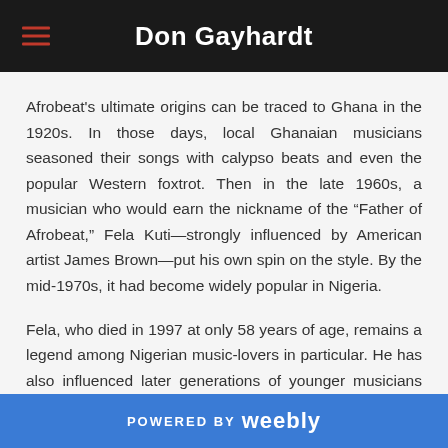Don Gayhardt
Afrobeat's ultimate origins can be traced to Ghana in the 1920s. In those days, local Ghanaian musicians seasoned their songs with calypso beats and even the popular Western foxtrot. Then in the late 1960s, a musician who would earn the nickname of the “Father of Afrobeat,” Fela Kuti—strongly influenced by American artist James Brown—put his own spin on the style. By the mid-1970s, it had become widely popular in Nigeria.
Fela, who died in 1997 at only 58 years of age, remains a legend among Nigerian music-lovers in particular. He has also influenced later generations of younger musicians worldwide, including Mos Def and Erykah Badu.
POWERED BY weebly